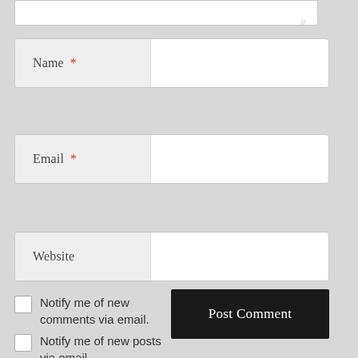[Figure (screenshot): Partial view of a comment form textarea at the top of the page, showing only the bottom portion with a resize handle]
Name *
Email *
Website
Notify me of new comments via email.
Post Comment
Notify me of new posts via email.